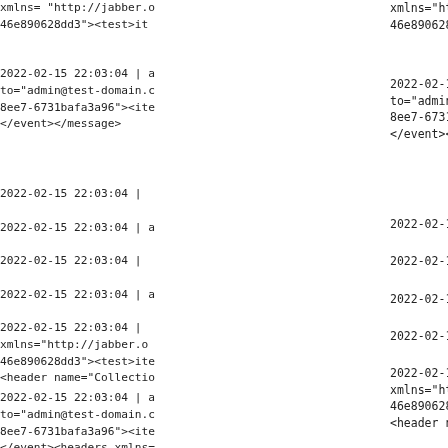xmlns="http://jabber.o... 46e890628dd3"><test>it...
2022-02-15 22:03:04 | a... to="admin@test-domain.c... 8ee7-6731bafa3a96"><ite... </event></message>
2022-02-15 22:03:04 | ...
2022-02-15 22:03:04 | a...
2022-02-15 22:03:04 | ...
2022-02-15 22:03:04 | a...
2022-02-15 22:03:04 | ... xmlns="http://jabber.o... 46e890628dd3"><test>ite... <header name="Collectio...
2022-02-15 22:03:04 | a... to="admin@test-domain.c... 8ee7-6731bafa3a96"><ite... </event><headers xmlns=... </message>